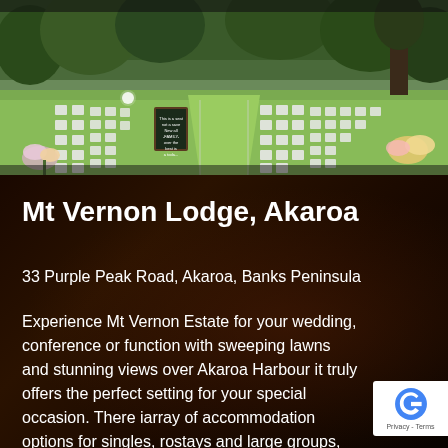[Figure (photo): Outdoor wedding ceremony setup on a green lawn with rows of white chairs arranged in an aisle formation, surrounded by trees. Decorative flower arrangements and a chalkboard sign visible.]
Mt Vernon Lodge, Akaroa
33 Purple Peak Road, Akaroa, Banks Peninsula
Experience Mt Vernon Estate for your wedding, conference or function with sweeping lawns and stunning views over Akaroa Harbour it truly offers the perfect setting for your special occasion. There i[s an] array of accommodation options for singles, ro[mantic] stays and large groups, and with an abundant ch[oice of...]